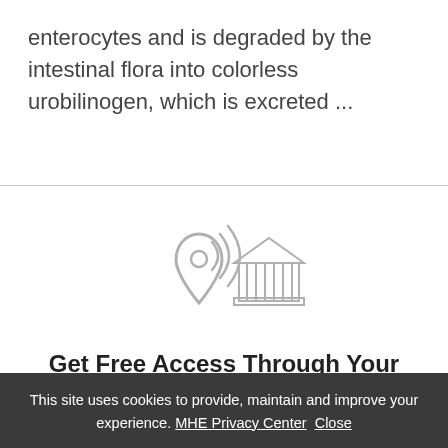enterocytes and is degraded by the intestinal flora into colorless urobilinogen, which is excreted ...
[Figure (illustration): Icon showing a location pin with WiFi/signal waves and a classical building/institution icon (columns and pediment) in light gray outline style]
Get Free Access Through Your Institution
Learn how to see if your library subscribes to
This site uses cookies to provide, maintain and improve your experience. MHE Privacy Center  Close